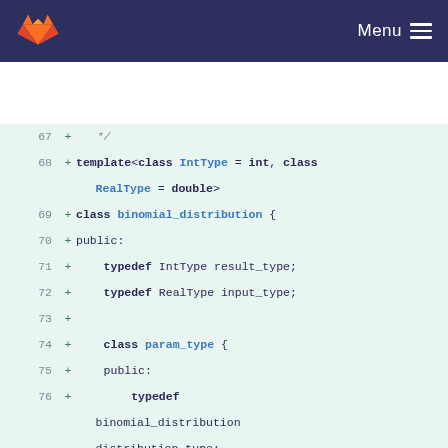GitLab — Menu
[Figure (screenshot): Code diff view showing C++ class definition lines 67-81, with line numbers, plus signs, and syntax-highlighted source code on a light green background.]